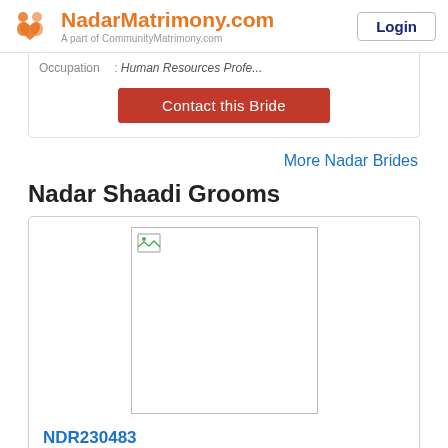NadarMatrimony.com — A part of CommunityMatrimony.com | Login
Occupation : Human Resources Profe...
Contact this Bride
More Nadar Brides
Nadar Shaadi Grooms
[Figure (photo): Broken image placeholder for a groom profile photo]
NDR230483
Age, Height : 31 yrs, 5 ft 11 in / 180 cm